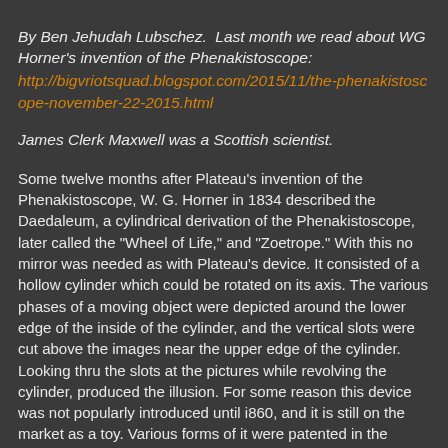By Ben Jehudah Lubschez. Last month we read about WG Horner's invention of the Phenakistoscope: http://bigvriotsquad.blogspot.com/2015/11/the-phenakistoscope-november-22-2015.html
James Clerk Maxwell was a Scottish scientist.
Some twelve months after Plateau's invention of the Phenakistoscope, W. G. Horner in 1834 described the Daedaleum, a cylindrical derivation of the Phenakistoscope, later called the "Wheel of Life," and "Zoetrope." With this no mirror was needed as with Plateau's device. It consisted of a hollow cylinder which could be rotated on its axis. The various phases of a moving object were depicted around the lower edge of the inside of the cylinder, and the vertical slots were cut above the images near the upper edge of the cylinder. Looking thru the slots at the pictures while revolving the cylinder, produced the illusion. For some reason this device was not popularly introduced until i860, and it is still on the market as a toy. Various forms of it were patented in the United States, England and France. Rather serious